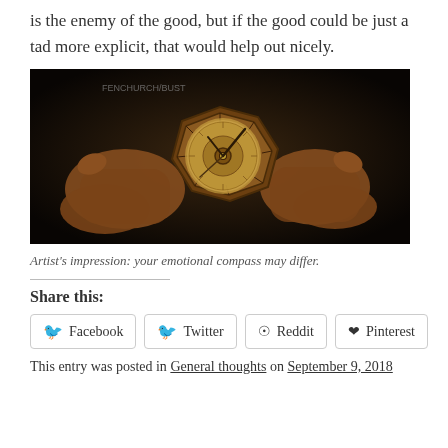is the enemy of the good, but if the good could be just a tad more explicit, that would help out nicely.
[Figure (photo): Hands holding an octagonal compass/alethiometer device against a dark background.]
Artist's impression: your emotional compass may differ.
Share this:
Facebook  Twitter  Reddit  Pinterest
This entry was posted in General thoughts on September 9, 2018